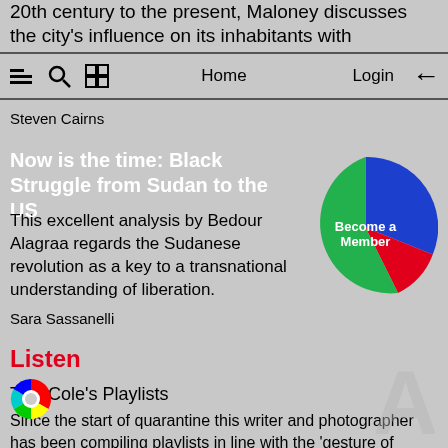20th century to the present, Maloney discusses the city's influence on its inhabitants with optimism for the future
Home | Login
Steven Cairns
Now is the time: Black Struggle from Sudan to the US
This excellent analysis by Bedour Alagraa regards the Sudanese revolution as a key to a transnational understanding of liberation.
Sara Sassanelli
[Figure (pie-chart): Pie chart with red, green, and blue slices labeled 'Become a Member']
Listen
Teju Cole's Playlists
Since the start of quarantine this writer and photographer has been compiling playlists in line with the 'gesture of sharing music in a time of anxiety'. A beautiful selection, his recent list take my hand is inspired by Arthur Jafa and Saidiya Hartman and features tracks by Mahalia Jackson